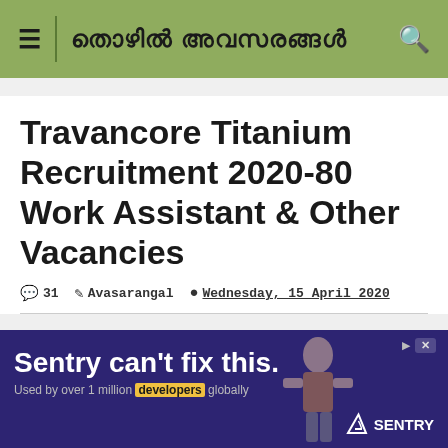തൊഴിൽ അവസരങ്ങൾ
Travancore Titanium Recruitment 2020-80 Work Assistant & Other Vacancies
31  Avasarangal  Wednesday, 15 April 2020
[Figure (screenshot): Advertisement banner: 'Sentry can't fix this. Used by over 1 million developers globally' with Sentry logo, purple background.]